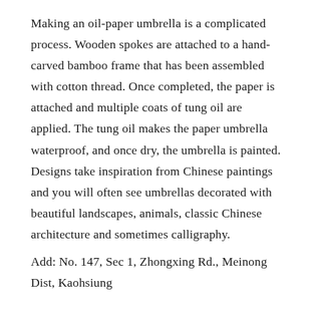Making an oil-paper umbrella is a complicated process. Wooden spokes are attached to a hand-carved bamboo frame that has been assembled with cotton thread. Once completed, the paper is attached and multiple coats of tung oil are applied. The tung oil makes the paper umbrella waterproof, and once dry, the umbrella is painted. Designs take inspiration from Chinese paintings and you will often see umbrellas decorated with beautiful landscapes, animals, classic Chinese architecture and sometimes calligraphy.
Add: No. 147, Sec 1, Zhongxing Rd., Meinong Dist, Kaohsiung
Contact: 07 681 0888